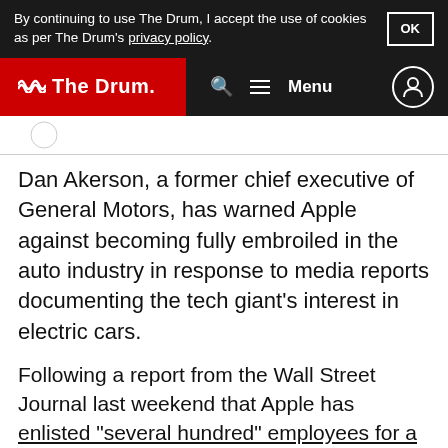By continuing to use The Drum, I accept the use of cookies as per The Drum's privacy policy.
The Drum — Menu
Dan Akerson, a former chief executive of General Motors, has warned Apple against becoming fully embroiled in the auto industry in response to media reports documenting the tech giant's interest in electric cars.
Following a report from the Wall Street Journal last weekend that Apple has enlisted "several hundred" employees for a top secret electric car